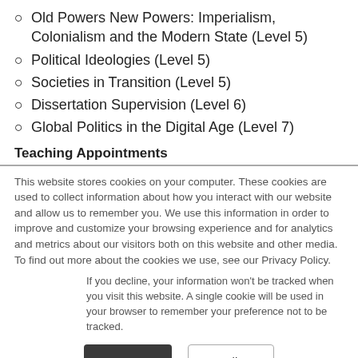Old Powers New Powers: Imperialism, Colonialism and the Modern State (Level 5)
Political Ideologies (Level 5)
Societies in Transition (Level 5)
Dissertation Supervision (Level 6)
Global Politics in the Digital Age (Level 7)
Teaching Appointments
This website stores cookies on your computer. These cookies are used to collect information about how you interact with our website and allow us to remember you. We use this information in order to improve and customize your browsing experience and for analytics and metrics about our visitors both on this website and other media. To find out more about the cookies we use, see our Privacy Policy.
If you decline, your information won't be tracked when you visit this website. A single cookie will be used in your browser to remember your preference not to be tracked.